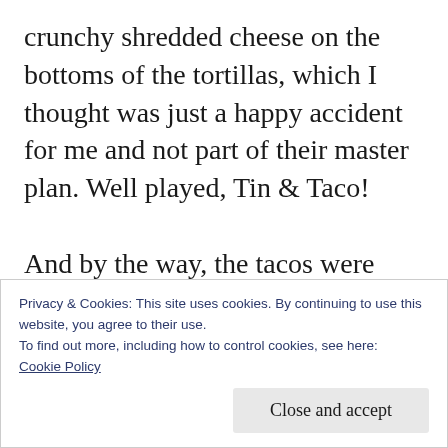crunchy shredded cheese on the bottoms of the tortillas, which I thought was just a happy accident for me and not part of their master plan.  Well played, Tin & Taco!

And by the way, the tacos were served on metal (tin) trays, hence the name.  I think it's a little weird when people online complain about metal trays in restaurants.  What's the problem?  They can keep washing them and using them forever, and it beats having more
Privacy & Cookies: This site uses cookies. By continuing to use this website, you agree to their use.
To find out more, including how to control cookies, see here:
Cookie Policy
Close and accept